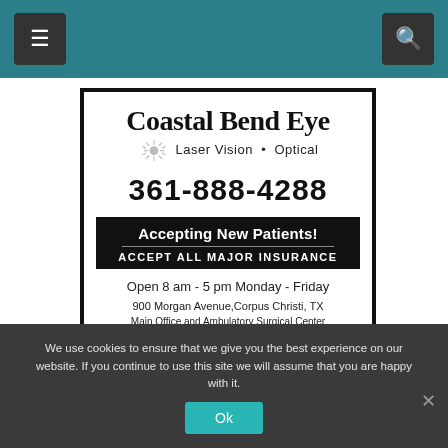Navigation bar with menu and search icons
[Figure (advertisement): Coastal Bend Eye Laser Vision Optical advertisement with phone number 361-888-4288, accepting new patients, accepts all major insurance, open 8am-5pm Monday-Friday, 900 Morgan Avenue Corpus Christi TX, Main Office and Ambulatory Surgical Center, www.coastalbendeye.com]
We use cookies to ensure that we give you the best experience on our website. If you continue to use this site we will assume that you are happy with it.